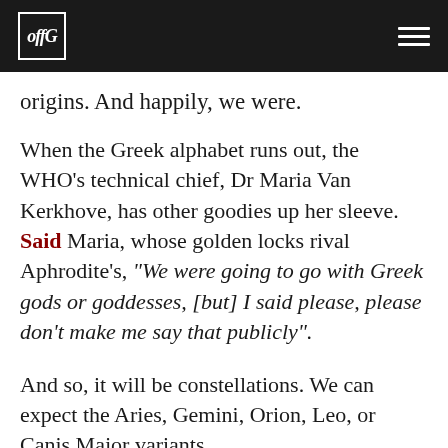offG [logo] [hamburger menu]
origins. And happily, we were.
When the Greek alphabet runs out, the WHO's technical chief, Dr Maria Van Kerkhove, has other goodies up her sleeve. Said Maria, whose golden locks rival Aphrodite's, "We were going to go with Greek gods or goddesses, [but] I said please, please don't make me say that publicly".
And so, it will be constellations. We can expect the Aries, Gemini, Orion, Leo, or Canis Major variants.